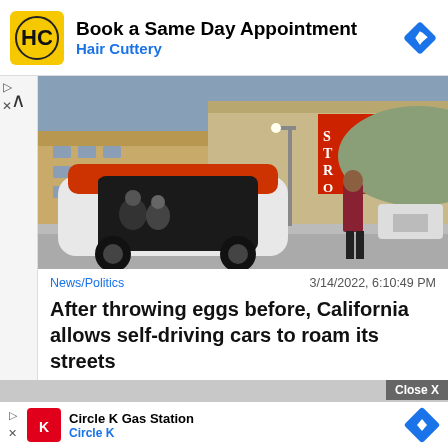[Figure (screenshot): Hair Cuttery advertisement banner with yellow HC logo, text 'Book a Same Day Appointment' and 'Hair Cuttery', and blue navigation diamond icon]
[Figure (photo): Autonomous self-driving vehicle (white and red) parked on a city street with passengers inside and a man walking toward it, buildings in background including a theater with 'ASTRO' sign]
News/Politics
3/14/2022, 6:10:49 PM
After throwing eggs before, California allows self-driving cars to roam its streets
[Figure (screenshot): Circle K Gas Station advertisement banner with red Circle K logo, text 'Circle K Gas Station' and 'Circle K', blue navigation diamond icon, and Close X button]